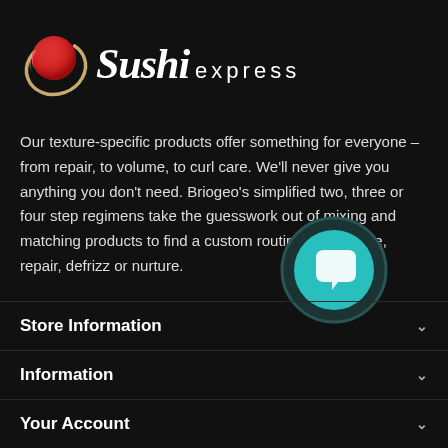[Figure (logo): Sushi Express logo with red sphere and gold swirl icon on the left, text 'Sushi express' on the right]
Our texture-specific products offer something for everyone – from repair, to volume, to curl care. We'll never give you anything you don't need. Briogeo's simplified two, three or four step regimens take the guesswork out of mixing and matching products to find a custom routine to volumize, repair, defrizz or nurture.
[Figure (illustration): Teal circular chat bubble icon with dark ring border]
Store Information
Information
Your Account